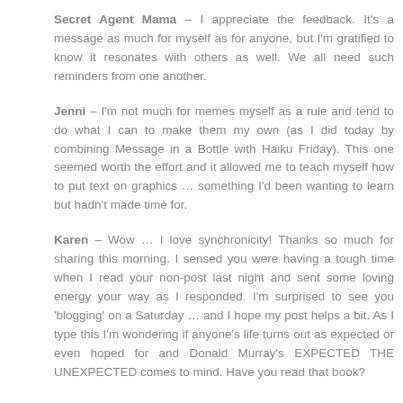Secret Agent Mama – I appreciate the feedback. It's a message as much for myself as for anyone, but I'm gratified to know it resonates with others as well. We all need such reminders from one another.
Jenni – I'm not much for memes myself as a rule and tend to do what I can to make them my own (as I did today by combining Message in a Bottle with Haiku Friday). This one seemed worth the effort and it allowed me to teach myself how to put text on graphics … something I'd been wanting to learn but hadn't made time for.
Karen – Wow … I love synchronicity! Thanks so much for sharing this morning. I sensed you were having a tough time when I read your non-post last night and sent some loving energy your way as I responded. I'm surprised to see you 'blogging' on a Saturday … and I hope my post helps a bit. As I type this I'm wondering if anyone's life turns out as expected or even hoped for and Donald Murray's EXPECTED THE UNEXPECTED comes to mind. Have you read that book?